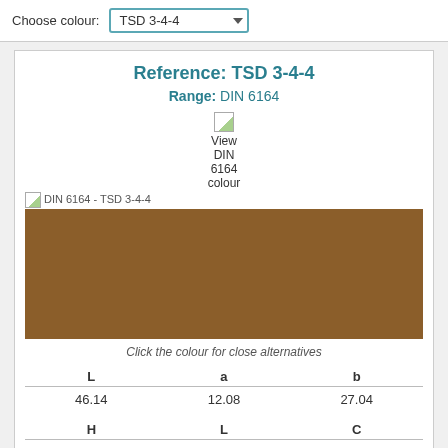Choose colour: TSD 3-4-4
Reference: TSD 3-4-4
Range: DIN 6164
[Figure (other): Broken image icon with label 'View DIN 6164 colour']
[Figure (other): Colour swatch for DIN 6164 - TSD 3-4-4, a medium brown colour (#8B5E2A approximately)]
Click the colour for close alternatives
| L | a | b |
| --- | --- | --- |
| 46.14 | 12.08 | 27.04 |
| H | L | C |
| --- | --- | --- |
| 66 | 46 | 30 |